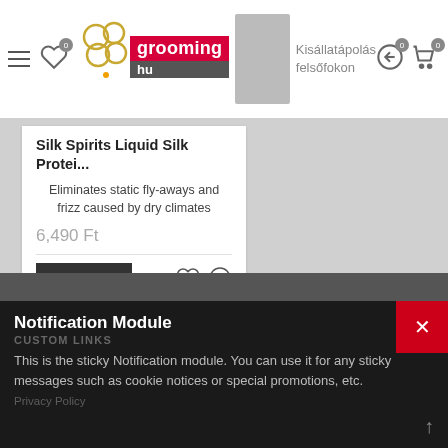grooming.hu — Kisállatápolás felsőfokon
Silk Spirits Liquid Silk Protei...
Eliminates static fly-aways and frizz caused by dry climates
6,490 Ft
Add to Cart
Notification Module
CUSTOM LINKS
This is the sticky Notification module. You can use it for any sticky messages such as cookie notices or special promotions, etc.
Privacy Policy